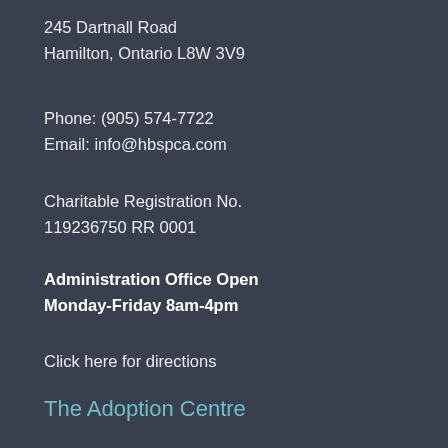245 Dartnall Road
Hamilton, Ontario L8W 3V9
Phone: (905) 574-7722
Email: info@hbspca.com
Charitable Registration No.
119236750 RR 0001
Administration Office Open Monday-Friday 8am-4pm
Click here for directions
The Adoption Centre
(905) 574-7722
By Appointment ONLY
Hours of operation: